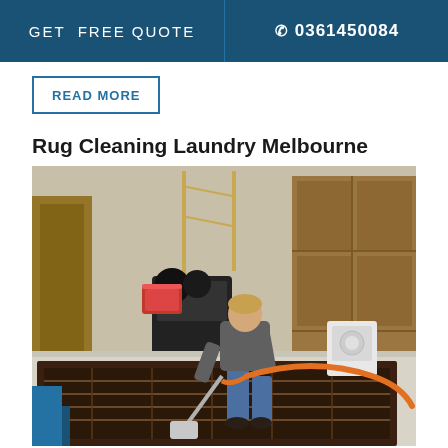GET FREE QUOTE | 0361450084
READ MORE
Rug Cleaning Laundry Melbourne
[Figure (photo): A person steam cleaning a large rug on the floor of an industrial warehouse/laundry facility, using a cleaning wand connected to an orange hose. The warehouse has wooden cabinetry, machinery, and other equipment in the background.]